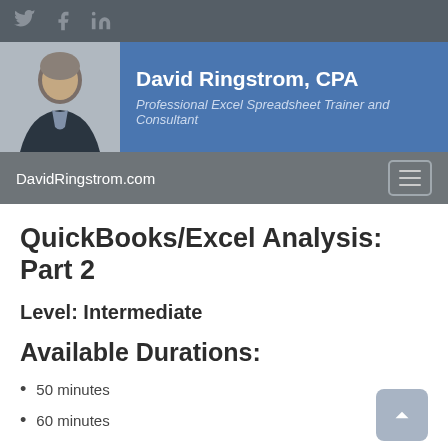[Figure (screenshot): Social media bar with Twitter, Facebook, LinkedIn icons on dark gray background]
[Figure (photo): Profile banner showing David Ringstrom, CPA with photo on blue background]
DavidRingstrom.com
QuickBooks/Excel Analysis: Part 2
Level: Intermediate
Available Durations:
50 minutes
60 minutes